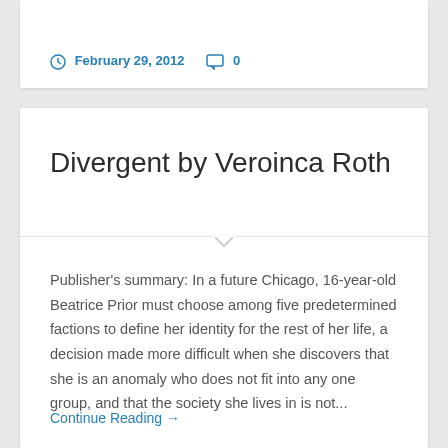February 29, 2012   0
Divergent by Veroinca Roth
Publisher's summary: In a future Chicago, 16-year-old Beatrice Prior must choose among five predetermined factions to define her identity for the rest of her life, a decision made more difficult when she discovers that she is an anomaly who does not fit into any one group, and that the society she lives in is not...
Continue Reading →